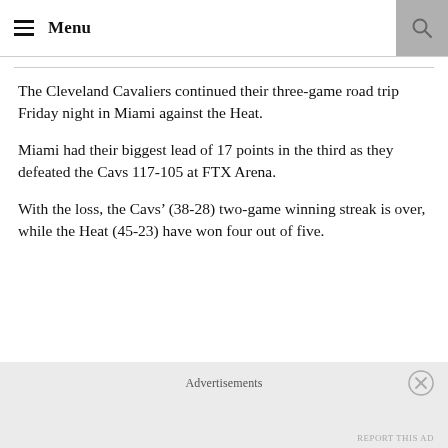Menu
The Cleveland Cavaliers continued their three-game road trip Friday night in Miami against the Heat.
Miami had their biggest lead of 17 points in the third as they defeated the Cavs 117-105 at FTX Arena.
With the loss, the Cavs’ (38-28) two-game winning streak is over, while the Heat (45-23) have won four out of five.
Advertisements